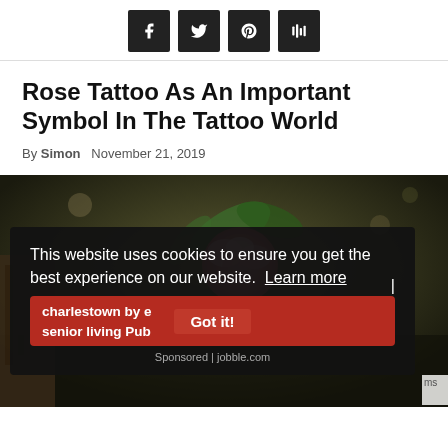[Figure (infographic): Social media share buttons: Facebook, Twitter, Pinterest, Mix (dark square icons)]
Rose Tattoo As An Important Symbol In The Tattoo World
By Simon   November 21, 2019
[Figure (photo): Close-up photograph of a pink rose against a blurred dark background]
This website uses cookies to ensure you get the best experience on our website.  Learn more
charlestown by e... senior living Pub... Sponsored | jobble.com